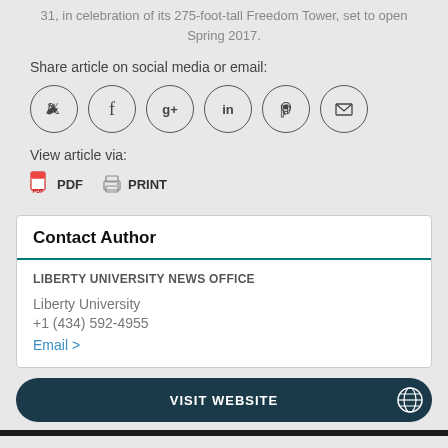31, in celebration of its 275-foot-tall Freedom Tower, set to open Spring 2017.
Share article on social media or email:
[Figure (infographic): Social media share icons in circles: Twitter, Facebook, Google+, LinkedIn, Pinterest, Email]
View article via:
PDF  PRINT
Contact Author
LIBERTY UNIVERSITY NEWS OFFICE
Liberty University
+1 (434) 592-4955
Email >
VISIT WEBSITE